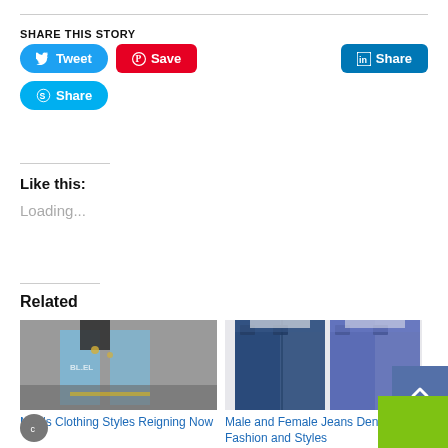SHARE THIS STORY
[Figure (screenshot): Social share buttons: Tweet (Twitter, blue rounded), Save (Pinterest, red rectangle), Share (LinkedIn, blue rectangle), Share (Skype, blue rounded)]
Like this:
Loading...
Related
[Figure (photo): Photo of men's clothing and jeans street style]
Men's Clothing Styles Reigning Now
[Figure (photo): Photo of male and female jeans denim fashion]
Male and Female Jeans Denim Fashion and Styles